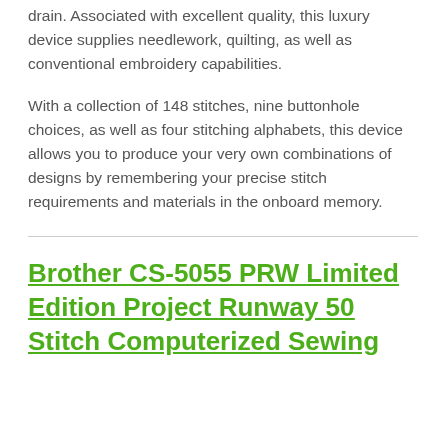drain. Associated with excellent quality, this luxury device supplies needlework, quilting, as well as conventional embroidery capabilities.
With a collection of 148 stitches, nine buttonhole choices, as well as four stitching alphabets, this device allows you to produce your very own combinations of designs by remembering your precise stitch requirements and materials in the onboard memory.
Brother CS-5055 PRW Limited Edition Project Runway 50 Stitch Computerized Sewing